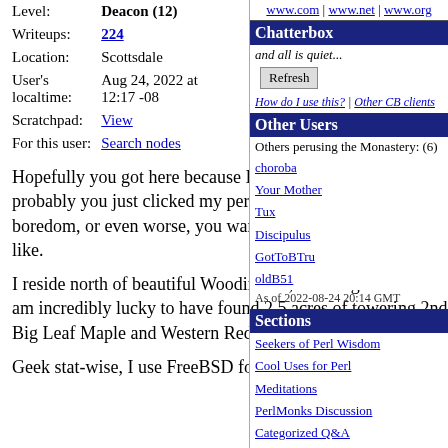| Level: | Deacon (12) |
| Writeups: | 224 |
| Location: | Scottsdale |
| User's localtime: | Aug 24, 2022 at 12:17 -08 |
| Scratchpad: | View |
| For this user: | Search nodes |
Hopefully you got here because I did something intelligent on this site. But probably you just clicked my personal node link out of curiosity or worse, boredom, or even worse, you wanted to see what that moron's user bio looked like.
I reside north of beautiful Woodinville, Washington in rural Snohomish county. I am incredibly lucky to have found 2.5 acres of towering 2nd growth Douglas-fir, Big Leaf Maple and Western Red Cedar.
Geek stat-wise, I use FreeBSD for my
www.com | www.net | www.org
Chatterbox
and all is quiet...
Refresh
How do I use this? | Other CB clients
Other Users
Others perusing the Monastery: (6)
choroba
Your Mother
Tux
Discipulus
GotToBTru
oldB51
As of 2022-08-24 20:14 GMT
Sections
Seekers of Perl Wisdom
Cool Uses for Perl
Meditations
PerlMonks Discussion
Categorized Q&A
Tutorials
Obfuscated Code
Perl Poetry
Perl News
about